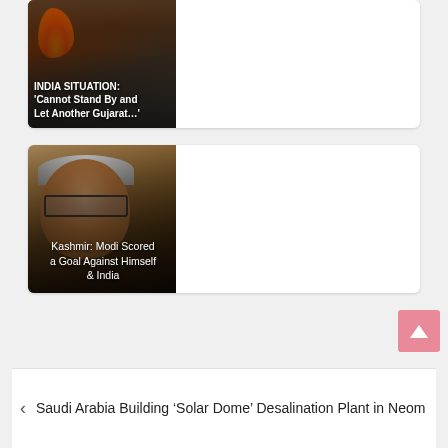[Figure (photo): News article thumbnail: fire and smoke scene with people, overlaid with text about India Situation and Gujarat]
INDIA SITUATION: 'Cannot Stand By and Let Another Gujarat…'
[Figure (photo): News article thumbnail: close-up of a man with white hair and glasses (Narendra Modi), overlaid with text about Kashmir]
Kashmir: Modi Scored a Goal Against Himself & India
Saudi Arabia Building 'Solar Dome' Desalination Plant in Neom